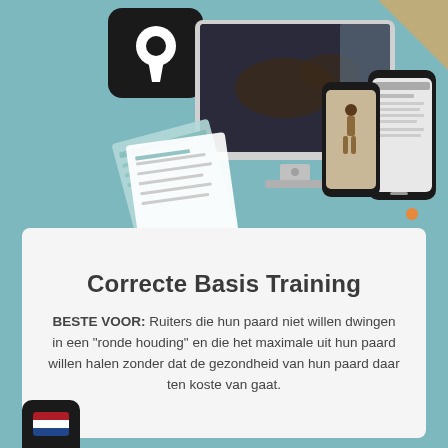[Figure (illustration): Marketing image showing a desktop iMac with a dressage horse video, a smartphone with a website, a dark square icon with a keyhole, and printed documents/workbooks, all on a teal background with a tan decorative corner top right.]
Correcte Basis Training
BESTE VOOR: Ruiters die hun paard niet willen dwingen in een "ronde houding" en die het maximale uit hun paard willen halen zonder dat de gezondheid van hun paard daar ten koste van gaat.